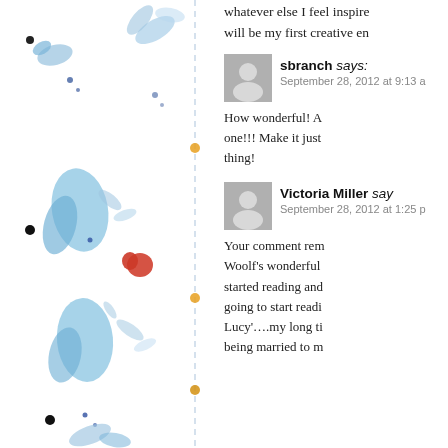[Figure (illustration): Decorative left sidebar with watercolor-style blue botanical illustrations (birds, leaves, flowers) and a vertical dashed line with small orange/gold dot ornaments]
whatever else I feel inspire will be my first creative en
sbranch says:
September 28, 2012 at 9:13 a
How wonderful! A one!!! Make it just thing!
Victoria Miller says:
September 28, 2012 at 1:25 p
Your comment rem Woolf's wonderful started reading and going to start readi Lucy'….my long ti being married to m